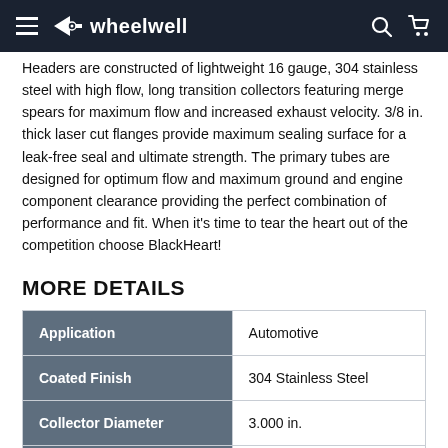wheelwell
Headers are constructed of lightweight 16 gauge, 304 stainless steel with high flow, long transition collectors featuring merge spears for maximum flow and increased exhaust velocity. 3/8 in. thick laser cut flanges provide maximum sealing surface for a leak-free seal and ultimate strength. The primary tubes are designed for optimum flow and maximum ground and engine component clearance providing the perfect combination of performance and fit. When it's time to tear the heart out of the competition choose BlackHeart!
MORE DETAILS
| Application | Automotive |
| --- | --- |
| Coated Finish | 304 Stainless Steel |
| Collector Diameter | 3.000 in. |
| Collector Tube Size | 3.000 in. |